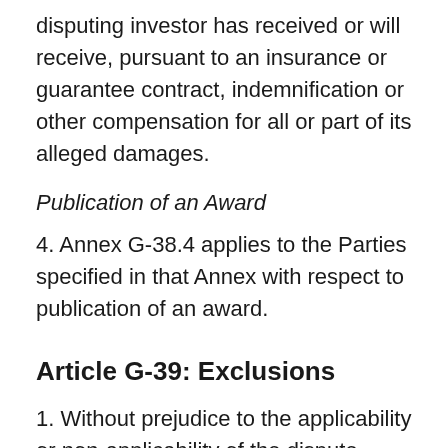disputing investor has received or will receive, pursuant to an insurance or guarantee contract, indemnification or other compensation for all or part of its alleged damages.
Publication of an Award
4. Annex G-38.4 applies to the Parties specified in that Annex with respect to publication of an award.
Article G-39: Exclusions
1. Without prejudice to the applicability or non-applicability of the dispute settlement